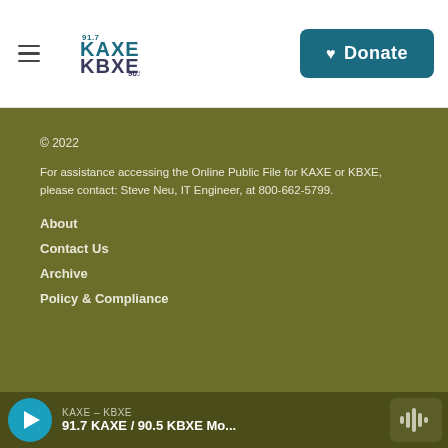[Figure (logo): KAXE 91.7 / KBXE 90.5 radio station logo with hamburger menu icon]
[Figure (other): Donate button with heart icon, teal background]
© 2022
For assistance accessing the Online Public File for KAXE or KBXE, please contact: Steve Neu, IT Engineer, at 800-662-5799.
About
Contact Us
Archive
Policy & Compliance
KAXE – KBXE
91.7 KAXE / 90.5 KBXE Mo...